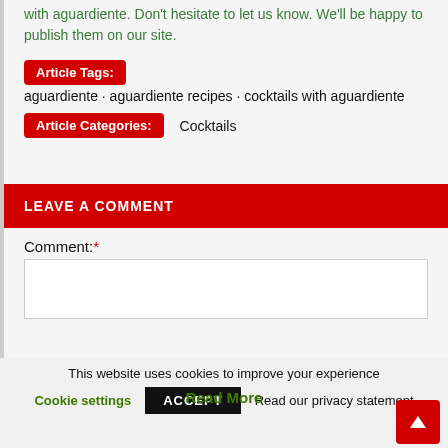with aguardiente. Don't hesitate to let us know. We'll be happy to publish them on our site.
Article Tags: aguardiente · aguardiente recipes · cocktails with aguardiente
Article Categories: Cocktails
LEAVE A COMMENT
Comment: *
This website uses cookies to improve your experience
Cookie settings   ACCEPT   Read our privacy statement
Read More